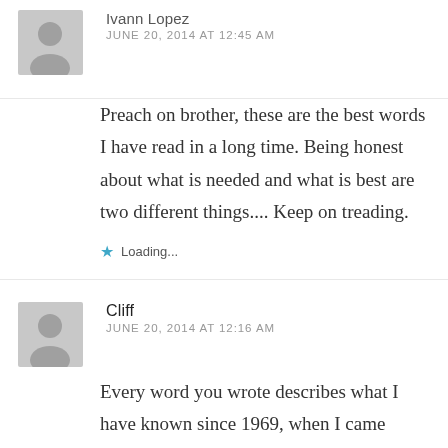Ivann Lopez
JUNE 20, 2014 AT 12:45 AM
Preach on brother, these are the best words I have read in a long time. Being honest about what is needed and what is best are two different things.... Keep on treading.
Loading...
Cliff
JUNE 20, 2014 AT 12:16 AM
Every word you wrote describes what I have known since 1969, when I came home from Vietnam. We who